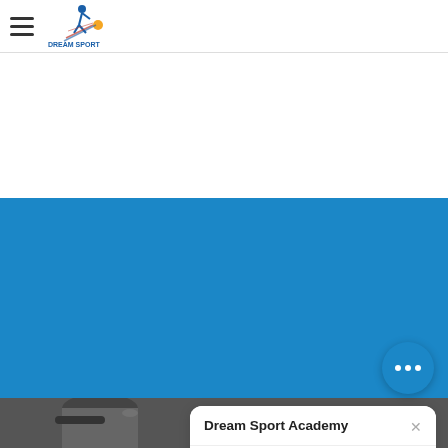[Figure (logo): Dream Sport Academy logo: a figure in motion with a comet/ball graphic, stylized text]
[Figure (screenshot): Website screenshot showing a blue section with a chat popup from Dream Sport Academy. The popup has a title 'Dream Sport Academy', a message 'Welcome ! Feel free to chat with me here!', a reply input box 'Reply to Dream Sport Academy', and a chat bubble button at the bottom right.]
Dream Sport Academy
Welcome ! Feel free to chat with me here!
Reply to Dream Sport Academy
[Figure (photo): Black and white photo of a person wearing a cap, partially visible at the bottom of the page]